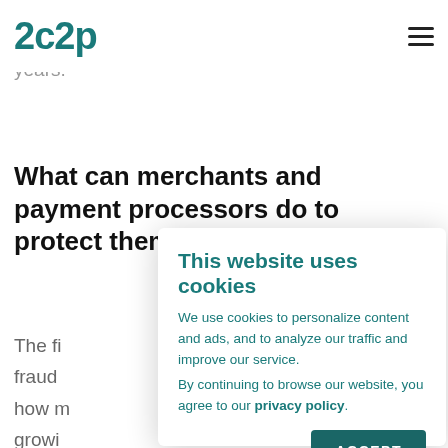2C2P
encouraged. I foresee this integrity issue becoming more dominant in the next couple of years.
What can merchants and payment processors do to protect them
The fi fraud how m growi tackli
This website uses cookies
We use cookies to personalize content and ads, and to analyze our traffic and improve our service.
By continuing to browse our website, you agree to our privacy policy.
ACCEPT